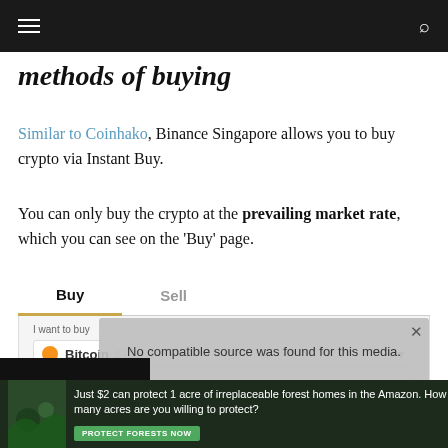Navigation bar
methods of buying
Similar to Coinhako, Binance Singapore allows you to buy crypto via Instant Buy.
You can only buy the crypto at the prevailing market rate, which you can see on the 'Buy' page.
[Figure (screenshot): Binance Singapore Buy/Sell interface showing Bitcoin selection, I want to buy and I want to spend fields, with a video overlay error message: No compatible source was found for this media.]
[Figure (infographic): Ad banner: Just $2 can protect 1 acre of irreplaceable forest homes in the Amazon. How many acres are you willing to protect? PROTECT FORESTS NOW]